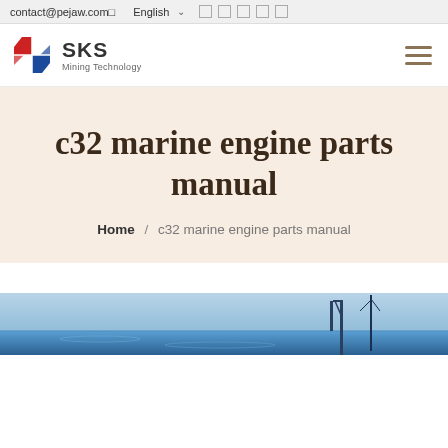contact@pejaw.com  English
[Figure (logo): SKS Mining Technology logo with red and blue angular S-shape icon, company name SKS in bold, subtitle Mining Technology]
c32 marine engine parts manual
Home / c32 marine engine parts manual
[Figure (photo): Blue-toned image showing marine/industrial scene at bottom of page]